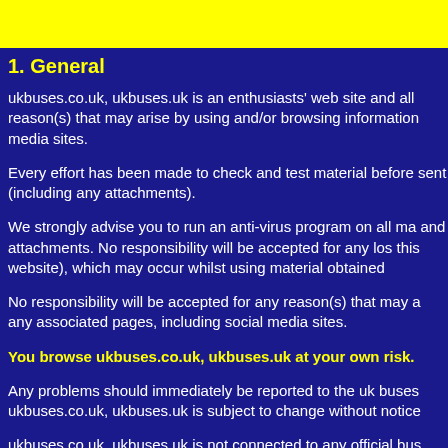1. General
ukbuses.co.uk, ukbuses.uk is an enthusiasts' web site and all reason(s) that may arise by using and/or browsing information media sites.
Every effort has been made to check and test material before sent (including any attachments).
We strongly advise you to run an anti-virus program on all ma and attachments. No responsibility will be accepted for any los this website), which may occur whilst using material obtained
No responsibility will be accepted for any reason(s) that may a any associated pages, including social media sites.
You browse ukbuses.co.uk, ukbuses.uk at your own risk.
Any problems should immediately be reported to the uk buses ukbuses.co.uk, ukbuses.uk is subject to change without notice
ukbuses.co.uk, ukbuses.uk is not connected to any official bus